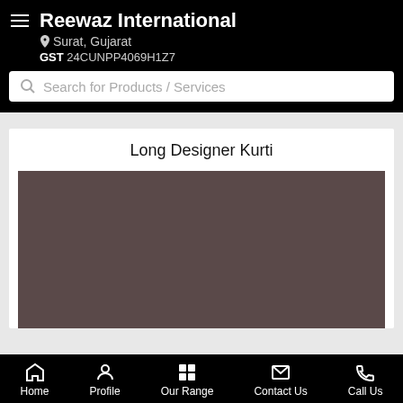Reewaz International
Surat, Gujarat
GST 24CUNPP4069H1Z7
Search for Products / Services
Long Designer Kurti
[Figure (photo): Product image placeholder — dark brownish-gray rectangle representing a product photo of Long Designer Kurti]
Home  Profile  Our Range  Contact Us  Call Us